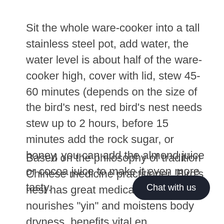Sit the whole ware-cooker into a tall stainless steel pot, add water, the water level is about half of the ware-cooker high, cover with lid, stew 45-60 minutes (depends on the size of the bird's nest, red bird's nest needs stew up to 2 hours, before 15 minutes add the rock sugar, or honey, you can add the almond juice or cocoa juice to make it even more tasty.
Based on the philosophy of tradition Chinese medicine practitioner, Bird's nest has great medical value. It nourishes "yin" and moistens body dryness, benefits vital en... strengthens the lungs, elimina...d coughs, improves appetites and prevents